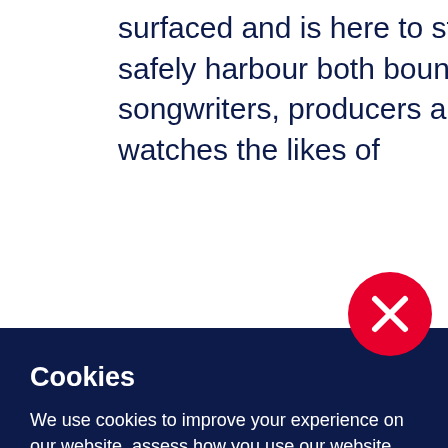surfaced and is here to stay. The burgeoning scene can safely harbour both boundary-pushing and populist songwriters, producers and publishers. And, while the world watches the likes of
Cookies
We use cookies to improve your experience on our website, assess how you use our website and for website security purposes. By continuing to navigate this website, we'll assume you agree to this. Read more about what cookies do and how to adjust your settings here.